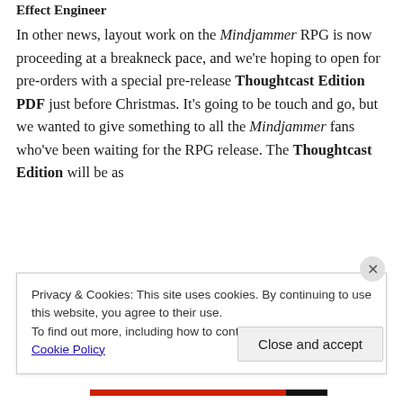Effect Engineer
In other news, layout work on the Mindjammer RPG is now proceeding at a breakneck pace, and we're hoping to open for pre-orders with a special pre-release Thoughtcast Edition PDF just before Christmas. It's going to be touch and go, but we wanted to give something to all the Mindjammer fans who've been waiting for the RPG release. The Thoughtcast Edition will be as
Privacy & Cookies: This site uses cookies. By continuing to use this website, you agree to their use.
To find out more, including how to control cookies, see here: Cookie Policy
Close and accept